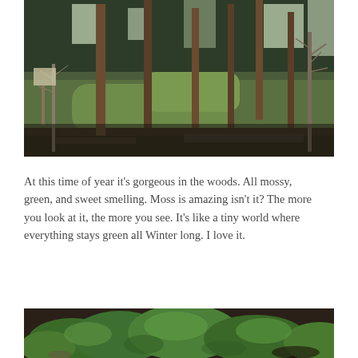[Figure (photo): Outdoor woodland scene showing tall conifer trees with brown bark, green mossy grass ground cover, bare deciduous trees on the right, and a dark muddy water area at the bottom. Overcast daylight, muted green and grey tones.]
At this time of year it’s gorgeous in the woods. All mossy, green, and sweet smelling. Moss is amazing isn’t it? The more you look at it, the more you see. It’s like a tiny world where everything stays green all Winter long. I love it.
[Figure (photo): Close-up ground-level photo of green leafy plants and moss on dark soil, partially cropped at bottom of page.]